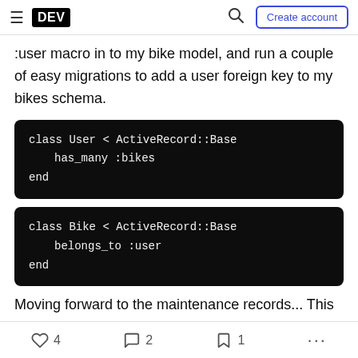DEV | Create account
:user macro in to my bike model, and run a couple of easy migrations to add a user foreign key to my bikes schema.
[Figure (screenshot): Code block showing: class User < ActiveRecord::Base
    has_many :bikes
end]
[Figure (screenshot): Code block showing: class Bike < ActiveRecord::Base
    belongs_to :user
end]
Moving forward to the maintenance records... This one was a challenge for me, an opportunity to
4 likes  2 comments  1 bookmark  ...